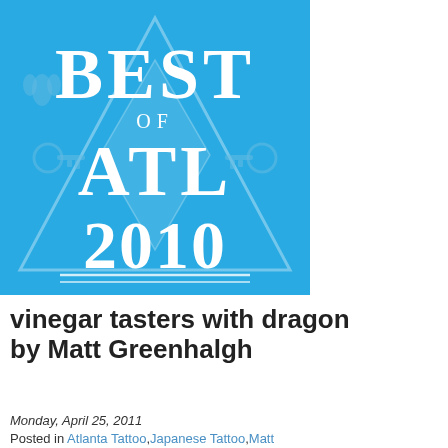[Figure (illustration): Best of ATL 2010 badge/logo — blue background with white serif text reading BEST OF ATL 2010, overlaid on a decorative triangle pattern with ornamental keys and flourishes in a slightly darker blue]
vinegar tasters with dragon by Matt Greenhalgh
Monday, April 25, 2011
Posted in Atlanta Tattoo, Japanese Tattoo, Matt